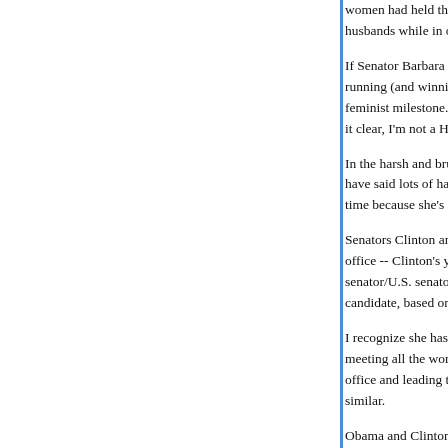women had held the position, when appointed to husbands while in office.
If Senator Barbara Mikulski were running and a senator running (and winning!) 100% 'in her own right'. I w feminist milestone. Not so much when it comes to it clear, I'm not a Hillary hater and think she shoul
In the harsh and brutal world of politics, I think sh have said lots of harsh things -- politics ain't bean time because she's a Clinton than because she's
Senators Clinton and Obama have about the sam office -- Clinton's years as a U.S. senator and Ob senator/U.S. senator. Yet Clinton is trying to sell h candidate, based on her years as first lady. I've n
I recognize she has seen and heard a lot by being meeting all the world's leaders. But when it comes office and leading the people of a state or nation, similar.
Obama and Clinton have very similar positions on military-spending for me. I'm not expecting miracl
I am enthusiastic about supporting Obama becau